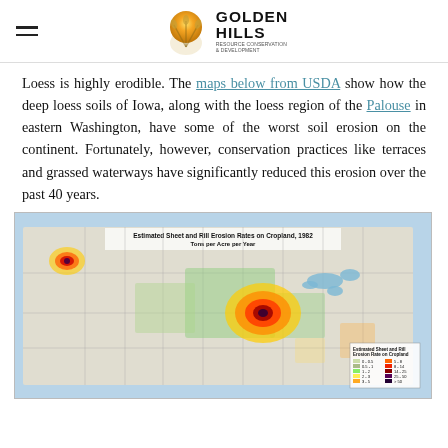Golden Hills Resource Conservation & Development
Loess is highly erodible. The maps below from USDA show how the deep loess soils of Iowa, along with the loess region of the Palouse in eastern Washington, have some of the worst soil erosion on the continent. Fortunately, however, conservation practices like terraces and grassed waterways have significantly reduced this erosion over the past 40 years.
[Figure (map): Estimated Sheet and Rill Erosion Rates on Cropland, 1982. Tons per Acre per Year. Color-coded map of the contiguous United States showing highest erosion rates (dark purple/red) concentrated in Iowa and eastern Washington (Palouse), with a legend showing erosion rate ranges.]